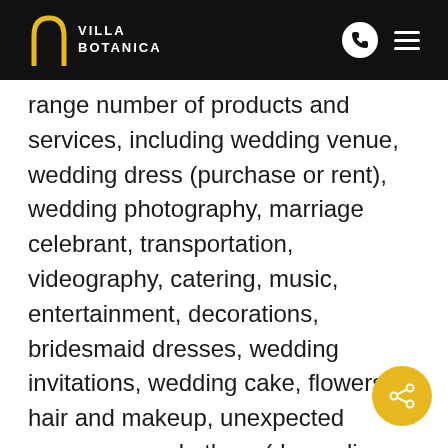Villa Botanica
range number of products and services, including wedding venue, wedding dress (purchase or rent), wedding photography, marriage celebrant, transportation, videography, catering, music, entertainment, decorations, bridesmaid dresses, wedding invitations, wedding cake, flowers, hair and makeup, unexpected expenses, and others (depending on your preferences).